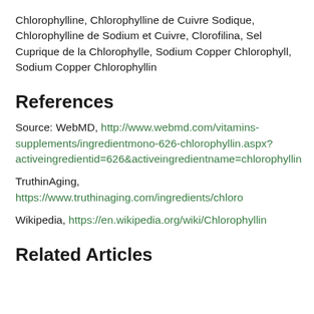Chlorophylline, Chlorophylline de Cuivre Sodique, Chlorophylline de Sodium et Cuivre, Clorofilina, Sel Cuprique de la Chlorophylle, Sodium Copper Chlorophyll, Sodium Copper Chlorophyllin
References
Source: WebMD, http://www.webmd.com/vitamins-supplements/ingredientmono-626-chlorophyllin.aspx?activeingredientid=626&activeingredientname=chlorophyllin
TruthinAging, https://www.truthinaging.com/ingredients/chloro
Wikipedia, https://en.wikipedia.org/wiki/Chlorophyllin
Related Articles